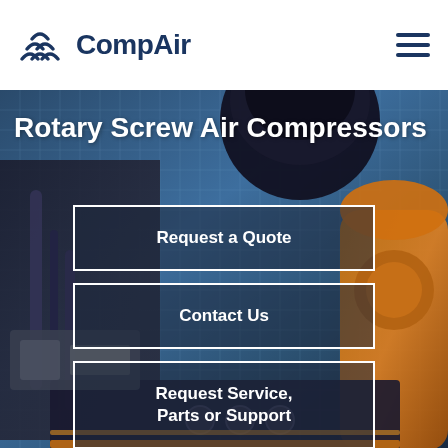[Figure (logo): CompAir logo with stylized triple-wave icon and bold dark blue text 'CompAir']
[Figure (screenshot): Hamburger menu icon (three horizontal dark blue lines) in the top right corner]
[Figure (photo): Background photo of industrial rotary screw air compressor machinery with blue metallic textures and orange robot arm]
Rotary Screw Air Compressors
Request a Quote
Contact Us
Request Service, Parts or Support
Downloads Center